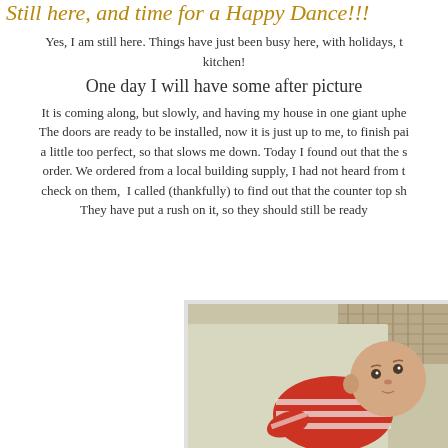Still here, and time for a Happy Dance!!!
Yes, I am still here. Things have just been busy here, with holidays, t... kitchen!
One day I will have some after picture
It is coming along, but slowly, and having my house in one giant uphe... The doors are ready to be installed, now it is just up to me, to finish pai... a little too perfect, so that slows me down. Today I found out that the s... order. We ordered from a local building supply, I had not heard from t... check on them, I called (thankfully) to find out that the counter top sh... They have put a rush on it, so they should still be ready
[Figure (photo): A baby in a red and white striped outfit lying on a light-colored surface, looking upward]